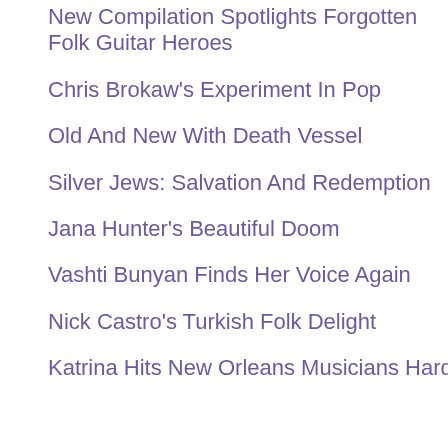New Compilation Spotlights Forgotten Folk Guitar Heroes
Chris Brokaw's Experiment In Pop
Old And New With Death Vessel
Silver Jews: Salvation And Redemption
Jana Hunter's Beautiful Doom
Vashti Bunyan Finds Her Voice Again
Nick Castro's Turkish Folk Delight
Katrina Hits New Orleans Musicians Hard
in addition to most of the alb several other w Francisco-base O'Ciosoig of M Hope Sandova inflected "Ange
Cabic admitted writing imagisti for "Angels Sha case, a tale of [a narrative] so wanted to do th proper words fo narrative, so I v
The album was production for t friends' apartm basic tracks on on tour with the New York City.
Vetiver will tour Newsome in Ju 4th and finishi American Musi working on new Neu-influenced Banhart hope t the Brazilian m that both of the
Asked to descr sounds like he "Caetano's...ar and almost... m